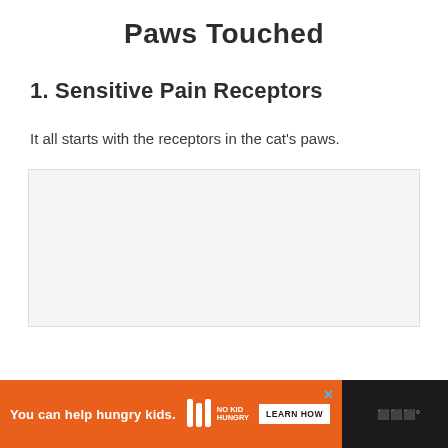Paws Touched
1. Sensitive Pain Receptors
It all starts with the receptors in the cat's paws.
[Figure (other): Empty light gray image placeholder box]
[Figure (other): Advertisement bar: orange background with text 'You can help hungry kids.' No Kid Hungry logo and 'LEARN HOW' button on orange, brand logo on dark right side]